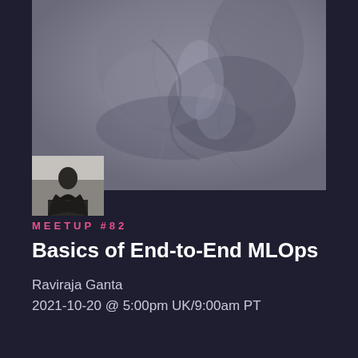[Figure (photo): Abstract dark gray swirling background image used as event banner header]
[Figure (photo): Black and white photo of speaker Raviraja Ganta]
MEETUP #82
Basics of End-to-End MLOps
Raviraja Ganta
2021-10-20 @ 5:00pm UK/9:00am PT